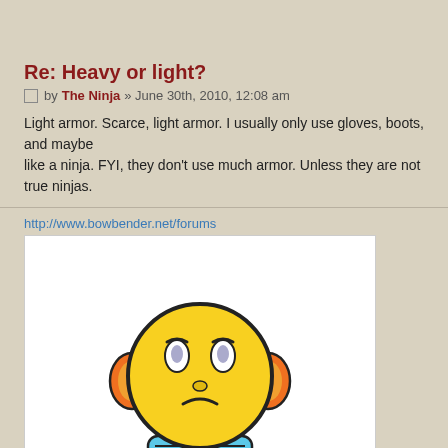Re: Heavy or light?
by The Ninja » June 30th, 2010, 12:08 am
Light armor. Scarce, light armor. I usually only use gloves, boots, and maybe like a ninja. FYI, they don't use much armor. Unless they are not true ninjas.
http://www.bowbender.net/forums
[Figure (illustration): Tinypic 'image no longer available' placeholder showing a sad yellow smiley face cartoon with headphones and blue shoes, with the tinypic logo and text 'This image is no longer available. Visit tinypic.com for more information.']